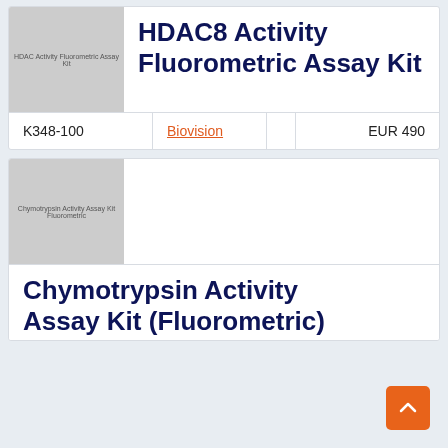[Figure (photo): Product image placeholder for HDAC8 Activity Fluorometric Assay Kit, grey box with small text label]
HDAC8 Activity Fluorometric Assay Kit
| SKU | Supplier |  | Price |
| --- | --- | --- | --- |
| K348-100 | Biovision |  | EUR 490 |
[Figure (photo): Product image placeholder for Chymotrypsin Activity Assay Kit Fluorometric, grey box with small text label]
Chymotrypsin Activity Assay Kit (Fluorometric)